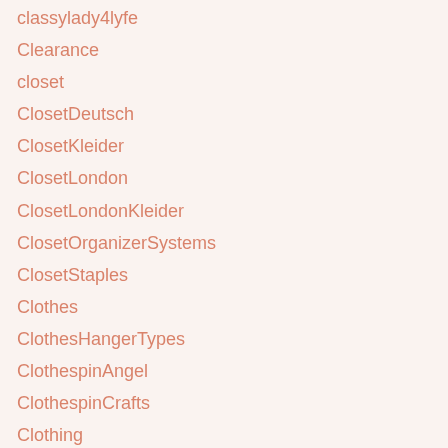classylady4lyfe
Clearance
closet
ClosetDeutsch
ClosetKleider
ClosetLondon
ClosetLondonKleider
ClosetOrganizerSystems
ClosetStaples
Clothes
ClothesHangerTypes
ClothespinAngel
ClothespinCrafts
Clothing
Coaching